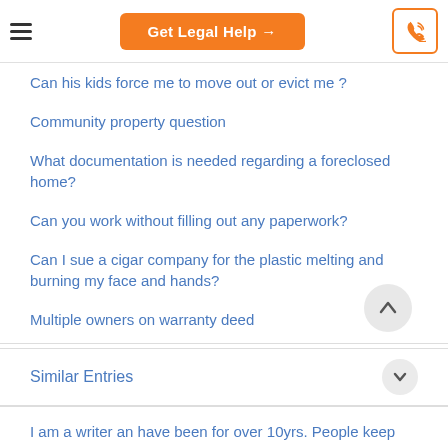Get Legal Help →
Can his kids force me to move out or evict me?
Community property question
What documentation is needed regarding a foreclosed home?
Can you work without filling out any paperwork?
Can I sue a cigar company for the plastic melting and burning my face and hands?
Multiple owners on warranty deed
Similar Entries
I am a writer an have been for over 10yrs. People keep taking my work and making money off of me what can I do?
If I own a vacation home in Puerto Rico, what will